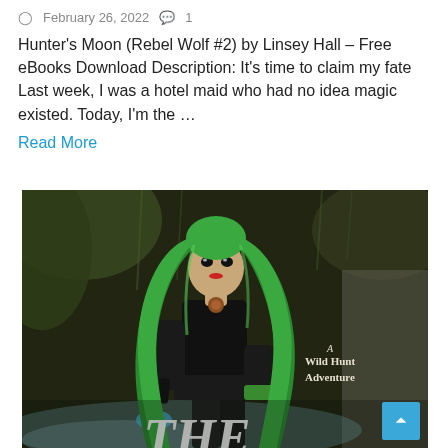February 26, 2022  1
Hunter's Moon (Rebel Wolf #2) by Linsey Hall – Free eBooks Download Description: It's time to claim my fate Last week, I was a hotel maid who had no idea magic existed. Today, I'm the …
Read More
[Figure (photo): Book cover image showing a woman with long green hair wearing a black outfit, holding a glowing weapon, standing in a dark forest setting. Text on cover reads 'A Wild Hunt Adventure' and partially visible 'THE' at the bottom.]